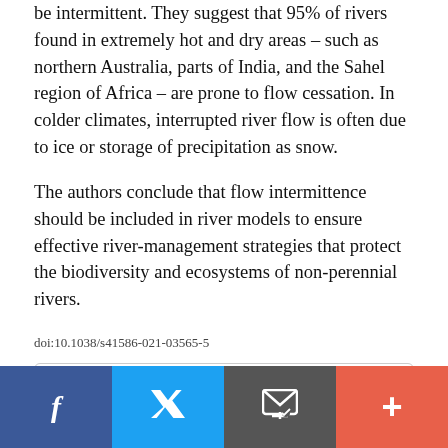be intermittent. They suggest that 95% of rivers found in extremely hot and dry areas – such as northern Australia, parts of India, and the Sahel region of Africa – are prone to flow cessation. In colder climates, interrupted river flow is often due to ice or storage of precipitation as snow.
The authors conclude that flow intermittence should be included in river models to ensure effective river-management strategies that protect the biodiversity and ecosystems of non-perennial rivers.
doi:10.1038/s41586-021-03565-5
Original article
[Figure (other): Social sharing bar with Facebook, Twitter, email, and more buttons]